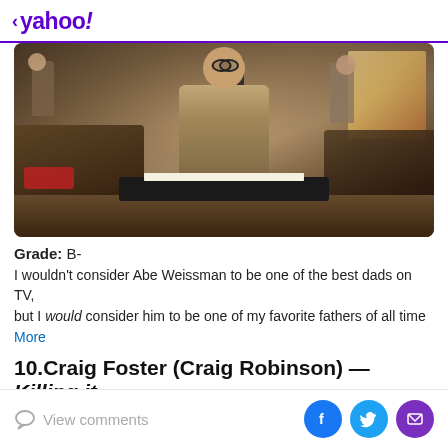< yahoo!
[Figure (photo): A man with glasses and a mustache wearing a vest sits at a typewriter in a busy, cluttered newsroom or office setting. Other people are visible in the background. Warm, vintage lighting.]
Grade: B-
I wouldn't consider Abe Weissman to be one of the best dads on TV, but I would consider him to be one of my favorite fathers of all time
More
10.Craig Foster (Craig Robinson) — Killing it
View comments